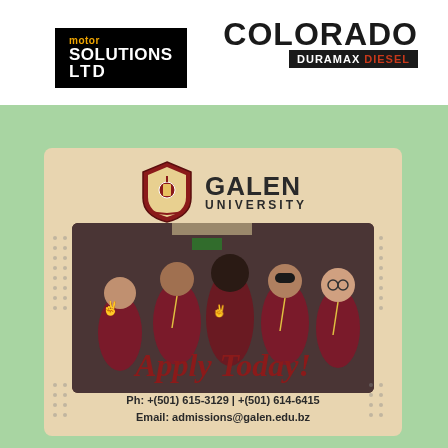[Figure (logo): Motor Solutions Ltd logo — black rectangle with orange 'motor' text and white 'SOLUTIONS LTD' text]
[Figure (logo): Colorado Duramax Diesel logo — large bold COLORADO text with black bar containing DURAMAX DIESEL subtitle]
[Figure (logo): Galen University crest/shield logo]
GALEN UNIVERSITY
[Figure (photo): Five university students in maroon/dark red polo shirts smiling in a hallway, some making peace signs]
Apply Today!
Ph: +(501) 615-3129 | +(501) 614-6415
Email: admissions@galen.edu.bz